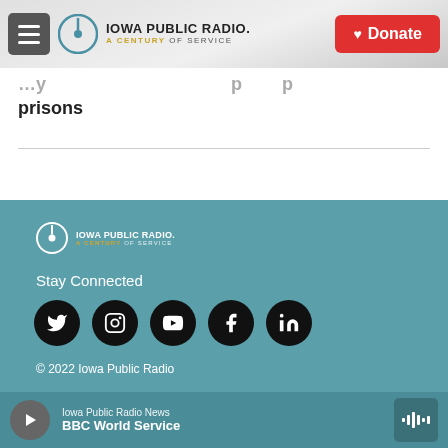Iowa Public Radio – A Century of Service | Donate
prisons
[Figure (logo): Iowa Public Radio logo in footer – white version]
Stay Connected
[Figure (infographic): Social media icons: Twitter, Instagram, YouTube, Facebook, LinkedIn – black circles on teal background]
© 2022 Iowa Public Radio
Iowa Public Radio News – BBC World Service (audio player bar)